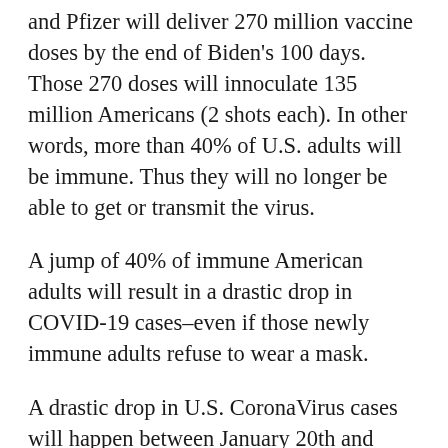and Pfizer will deliver 270 million vaccine doses by the end of Biden's 100 days. Those 270 doses will innoculate 135 million Americans (2 shots each). In other words, more than 40% of U.S. adults will be immune. Thus they will no longer be able to get or transmit the virus.
A jump of 40% of immune American adults will result in a drastic drop in COVID-19 cases–even if those newly immune adults refuse to wear a mask.
A drastic drop in U.S. CoronaVirus cases will happen between January 20th and April 29th, no matter who is inaugurated.  The reason for the drastic reduction will have